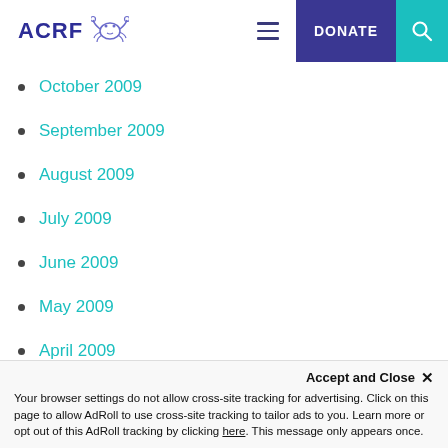ACRF [logo with crab icon] | DONATE | Search
October 2009
September 2009
August 2009
July 2009
June 2009
May 2009
April 2009
March 2009
January 2009
November 2008
Accept and Close ✕
Your browser settings do not allow cross-site tracking for advertising. Click on this page to allow AdRoll to use cross-site tracking to tailor ads to you. Learn more or opt out of this AdRoll tracking by clicking here. This message only appears once.